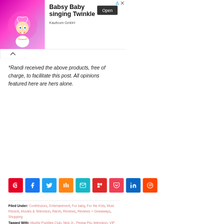[Figure (screenshot): Advertisement banner for 'Babsy Baby singing Twinkle' by Kaufcom GmbH with animated baby character on pink background, Open button on right]
*Randi received the above products, free of charge, to facilitate this post. All opinions featured here are hers alone.
[Figure (infographic): Row of social share buttons: Pinterest, Facebook, Twitter, Mix, Email, Flipboard, Pocket, LinkedIn, Reddit]
Filed Under: Contributors, Entertainment, For baby, For the Kids, Most Recent, Movies & Television, Randi, Reviews, Reviews + Giveaways, Shopping
Tagged With: Muddy Puddles Club, Nick Jr., Peppa Pig, television, VIP Parent